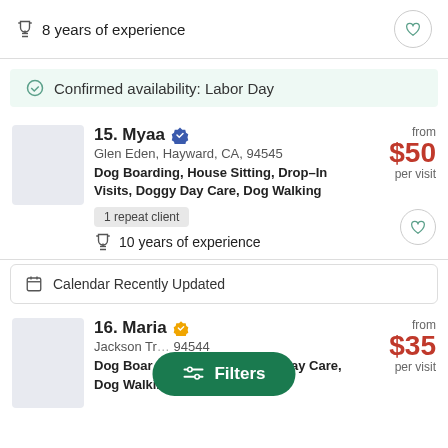8 years of experience
Confirmed availability: Labor Day
15. Myaa
Glen Eden, Hayward, CA, 94545
Dog Boarding, House Sitting, Drop-In Visits, Doggy Day Care, Dog Walking
from $50 per visit
1 repeat client
10 years of experience
Calendar Recently Updated
16. Maria
Jackson Tr... 94544
Dog Boar... p-In Visits, Doggy Day Care, Dog Walking
from $35 per visit
Filters